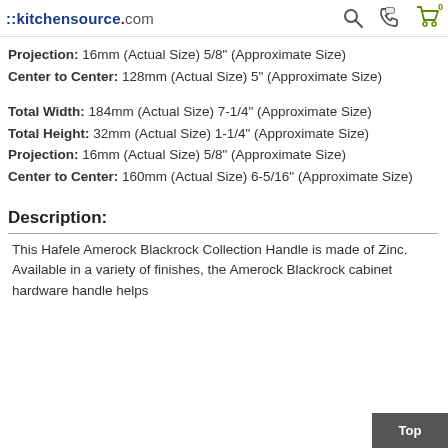::kitchensource.com
Projection: 16mm (Actual Size) 5/8" (Approximate Size)
Center to Center: 128mm (Actual Size) 5" (Approximate Size)
Total Width: 184mm (Actual Size) 7-1/4" (Approximate Size)
Total Height: 32mm (Actual Size) 1-1/4" (Approximate Size)
Projection: 16mm (Actual Size) 5/8" (Approximate Size)
Center to Center: 160mm (Actual Size) 6-5/16" (Approximate Size)
Description:
This Hafele Amerock Blackrock Collection Handle is made of Zinc. Available in a variety of finishes, the Amerock Blackrock cabinet hardware handle helps